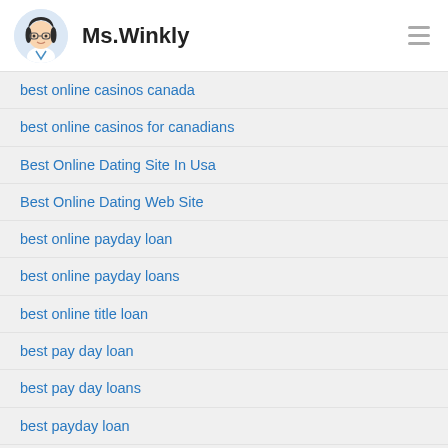Ms.Winkly
best online casinos canada
best online casinos for canadians
Best Online Dating Site In Usa
Best Online Dating Web Site
best online payday loan
best online payday loans
best online title loan
best pay day loan
best pay day loans
best payday loan
best payday loans
best payday loans 2016
best payday loans online